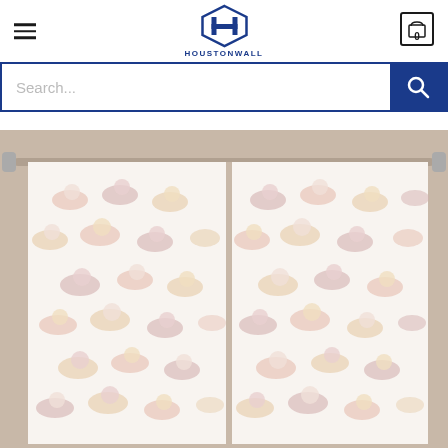[Figure (logo): Houstonwall logo with blue hexagon H icon and HOUSTONWALL text below]
[Figure (photo): Product photo of white curtains with pastel cat/kitten pattern hanging on a rod]
Search...
0